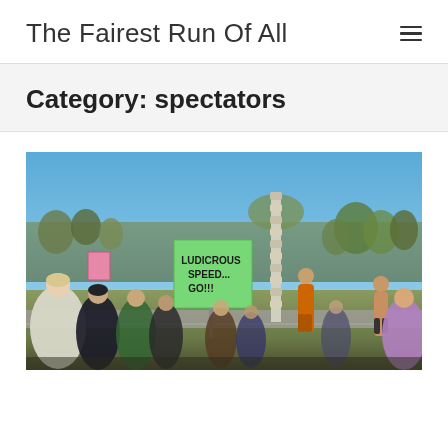The Fairest Run Of All
Category: spectators
[Figure (photo): Outdoor race event photo showing spectators and runners. A large green sign reads 'LUDICROUS SPEED... GO!!!' A tall decorative pole is visible in the background. Runners in orange and other colors are visible, with a crowd of spectators in the foreground. Blue sky and trees visible in background.]